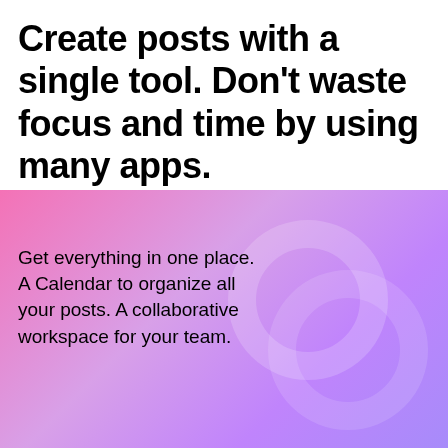Create posts with a single tool. Don't waste focus and time by using many apps.
Get everything in one place. A Calendar to organize all your posts. A collaborative workspace for your team.